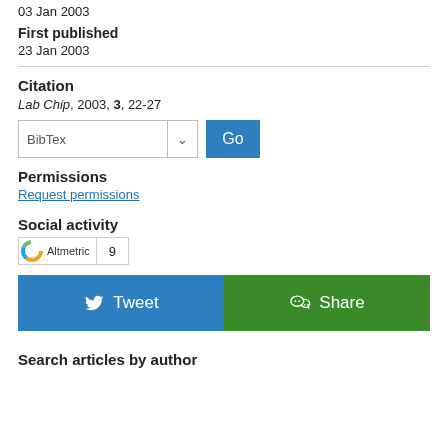03 Jan 2003
First published
23 Jan 2003
Citation
Lab Chip, 2003, 3, 22-27
BibTex [dropdown] Go
Permissions
Request permissions
Social activity
[Figure (other): Altmetric badge showing score 9]
[Figure (other): Tweet and Share social buttons]
Search articles by author